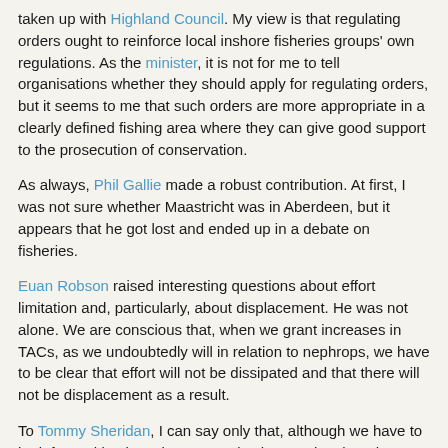taken up with Highland Council. My view is that regulating orders ought to reinforce local inshore fisheries groups' own regulations. As the minister, it is not for me to tell organisations whether they should apply for regulating orders, but it seems to me that such orders are more appropriate in a clearly defined fishing area where they can give good support to the prosecution of conservation.
As always, Phil Gallie made a robust contribution. At first, I was not sure whether Maastricht was in Aberdeen, but it appears that he got lost and ended up in a debate on fisheries.
Euan Robson raised interesting questions about effort limitation and, particularly, about displacement. He was not alone. We are conscious that, when we grant increases in TACs, as we undoubtedly will in relation to nephrops, we have to be clear that effort will not be dissipated and that there will not be displacement as a result.
To Tommy Sheridan, I can say only that, although we have to be informed by the science, we also have to be clear that we are trying to get the right balance between the imperative of the science, the economic interests of the fishermen and the impact on communities. That is what sustainable development is about and that is what the Executive is endeavouring to pursue.
I am grateful to Alasdair Morrison for his perspective from the Wester...